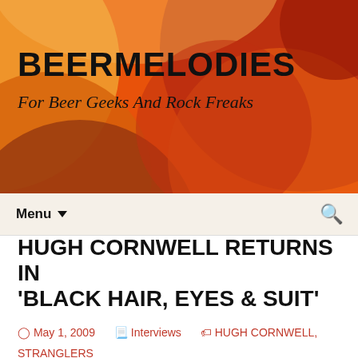[Figure (illustration): Abstract colorful background with overlapping circles and arcs in orange, red, amber, and brown tones forming the website header banner]
BEERMELODIES
For Beer Geeks And Rock Freaks
Menu ▼  🔍
HUGH CORNWELL RETURNS IN 'BLACK HAIR, EYES & SUIT'
May 1, 2009  Interviews  HUGH CORNWELL, STRANGLERS